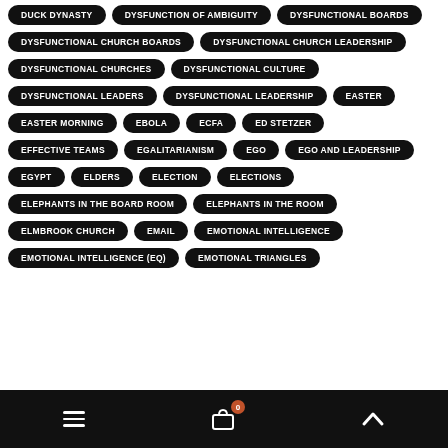DUCK DYNASTY
DYSFUNCTION OF AMBIGUITY
DYSFUNCTIONAL BOARDS
DYSFUNCTIONAL CHURCH BOARDS
DYSFUNCTIONAL CHURCH LEADERSHIP
DYSFUNCTIONAL CHURCHES
DYSFUNCTIONAL CULTURE
DYSFUNCTIONAL LEADERS
DYSFUNCTIONAL LEADERSHIP
EASTER
EASTER MORNING
EBOLA
ECFA
ED STETZER
EFFECTIVE TEAMS
EGALITARIANISM
EGO
EGO AND LEADERSHIP
EGYPT
ELDERS
ELECTION
ELECTIONS
ELEPHANTS IN THE BOARD ROOM
ELEPHANTS IN THE ROOM
ELMBROOK CHURCH
EMAIL
EMOTIONAL INTELLIGENCE
EMOTIONAL INTELLIGENCE (EQ)
EMOTIONAL TRIANGLES
≡  🛒 0  ∧